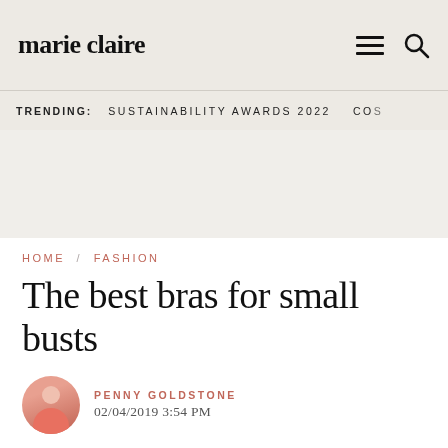marie claire
TRENDING:  SUSTAINABILITY AWARDS 2022  CO5
[Figure (other): Advertisement/empty banner space with beige background]
HOME / FASHION
The best bras for small busts
PENNY GOLDSTONE
02/04/2019 3:54 PM